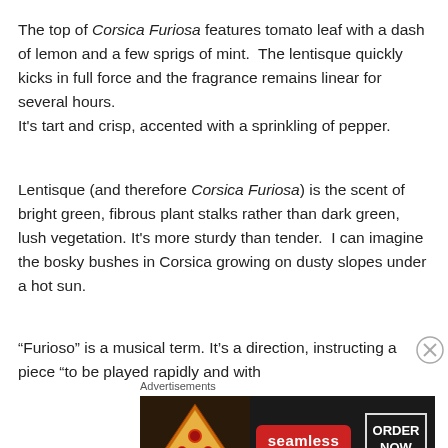The top of Corsica Furiosa features tomato leaf with a dash of lemon and a few sprigs of mint.  The lentisque quickly kicks in full force and the fragrance remains linear for several hours. It’s tart and crisp, accented with a sprinkling of pepper.
Lentisque (and therefore Corsica Furiosa) is the scent of bright green, fibrous plant stalks rather than dark green, lush vegetation. It’s more sturdy than tender.  I can imagine the bosky bushes in Corsica growing on dusty slopes under a hot sun.
“Furioso” is a musical term. It’s a direction, instructing a piece “to be played rapidly and with
Advertisements
[Figure (infographic): Seamless food delivery advertisement banner showing pizza image on left, Seamless logo in center on red badge, and ORDER NOW button on right, all on dark background.]